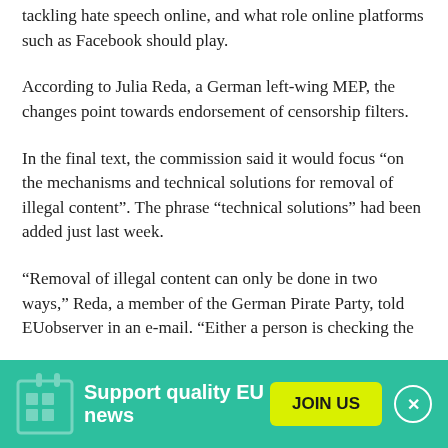tackling hate speech online, and what role online platforms such as Facebook should play.
According to Julia Reda, a German left-wing MEP, the changes point towards endorsement of censorship filters.
In the final text, the commission said it would focus “on the mechanisms and technical solutions for removal of illegal content”. The phrase “technical solutions” had been added just last week.
“Removal of illegal content can only be done in two ways,” Reda, a member of the German Pirate Party, told EUobserver in an e-mail. “Either a person is checking the
Support quality EU news   JOIN US